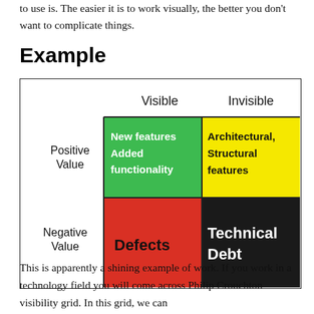to use is. The easier it is to work visually, the better you don't want to complicate things.
Example
[Figure (table-as-image): A 2x2 visibility grid showing four quadrants. Columns: Visible, Invisible. Rows: Positive Value, Negative Value. Quadrants: Green (New features, Added functionality), Yellow (Architectural, Structural features), Red (Defects), Black (Technical Debt).]
This is apparently a shining example of work. If you work in a technology field you will come across Philip Crouchton visibility grid. In this grid, we can